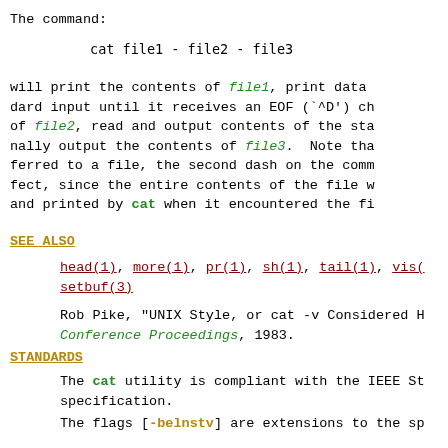The command:
cat file1 - file2 - file3
will print the contents of file1, print data from standard input until it receives an EOF (`^D') character, print the contents of file2, read and output contents of the standard input again, and finally output the contents of file3. Note that if stdin were redirected to a file, the second dash on the command line would have no effect, since the entire contents of the file would have already been read and printed by cat when it encountered the first `-'.
SEE ALSO
head(1), more(1), pr(1), sh(1), tail(1), vis(1), setbuf(3)
Rob Pike, "UNIX Style, or cat -v Considered Harmful", USENIX Summer Conference Proceedings, 1983.
STANDARDS
The cat utility is compliant with the IEEE St specification.
The flags [-belnstv] are extensions to the sp
HISTORY
A cat utility appeared in Version 1 AT&T UNIX